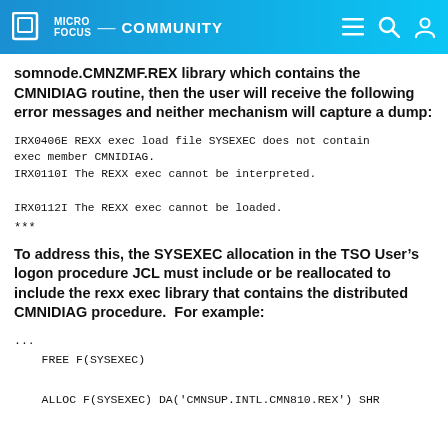Micro Focus Community
somnode.CMNZMF.REX library which contains the CMNIDIAG routine, then the user will receive the following error messages and neither mechanism will capture a dump:
IRX0406E REXX exec load file SYSEXEC does not contain exec member CMNIDIAG.
IRX0110I The REXX exec cannot be interpreted.

IRX0112I The REXX exec cannot be loaded.

***
To address this, the SYSEXEC allocation in the TSO User’s logon procedure JCL must include or be reallocated to include the rexx exec library that contains the distributed CMNIDIAG procedure.  For example:
...
    FREE F(SYSEXEC)

    ALLOC F(SYSEXEC) DA('CMNSUP.INTL.CMN810.REX') SHR